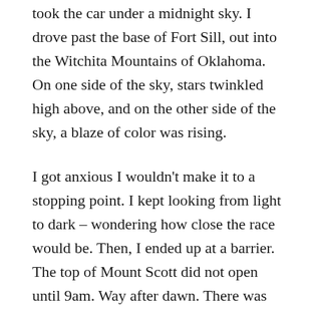took the car under a midnight sky. I drove past the base of Fort Sill, out into the Witchita Mountains of Oklahoma. On one side of the sky, stars twinkled high above, and on the other side of the sky, a blaze of color was rising.
I got anxious I wouldn't make it to a stopping point. I kept looking from light to dark – wondering how close the race would be. Then, I ended up at a barrier. The top of Mount Scott did not open until 9am. Way after dawn. There was no way to get to the top to watch the sunrise (my brilliant plan).
Not to be deterred (I would SEE a sunrise!), I back-tracked to Lake Lawtonka.